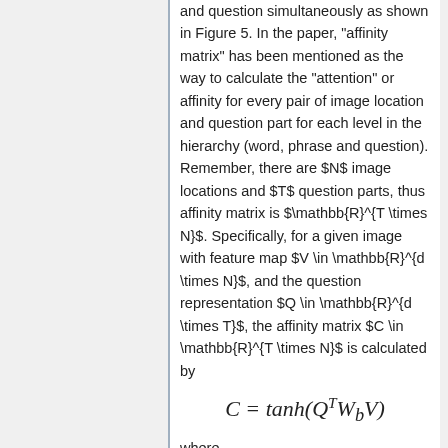and question simultaneously as shown in Figure 5. In the paper, "affinity matrix" has been mentioned as the way to calculate the "attention" or affinity for every pair of image location and question part for each level in the hierarchy (word, phrase and question). Remember, there are $N$ image locations and $T$ question parts, thus affinity matrix is $\mathbb{R}^{T \times N}$. Specifically, for a given image with feature map $V \in \mathbb{R}^{d \times N}$, and the question representation $Q \in \mathbb{R}^{d \times T}$, the affinity matrix $C \in \mathbb{R}^{T \times N}$ is calculated by
where,
$W_b \in \mathbb{R}^{d \times d}$